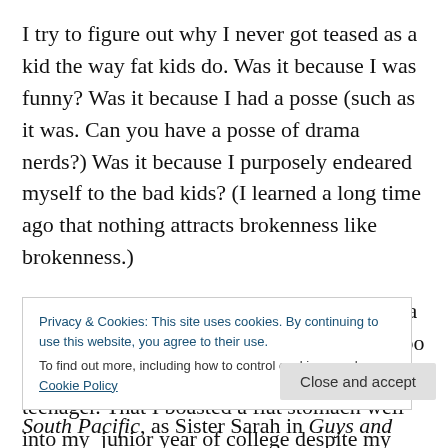I try to figure out why I never got teased as a kid the way fat kids do. Was it because I was funny? Was it because I had a posse (such as it was. Can you have a posse of drama nerds?) Was it because I purposely endeared myself to the bad kids? (I learned a long time ago that nothing attracts brokenness like brokenness.)
I try to figure out why I never got teased as a kid the way fats kids do and it take me far too long to remember I wasn't fat as a kid. Or a teenager. That I boasted a flat stomach well into my  junior year of college despite my
Privacy & Cookies: This site uses cookies. By continuing to use this website, you agree to their use.
To find out more, including how to control cookies, see here: Cookie Policy
Close and accept
South Pacific, as Sister Sarah in Guys and Dolls, in a